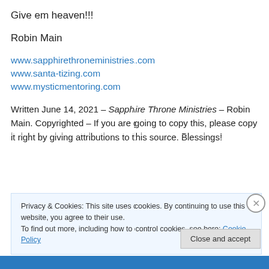Give em heaven!!!
Robin Main
www.sapphirethroneministries.com
www.santa-tizing.com
www.mysticmentoring.com
Written June 14, 2021 – Sapphire Throne Ministries – Robin Main. Copyrighted – If you are going to copy this, please copy it right by giving attributions to this source. Blessings!
Privacy & Cookies: This site uses cookies. By continuing to use this website, you agree to their use.
To find out more, including how to control cookies, see here: Cookie Policy